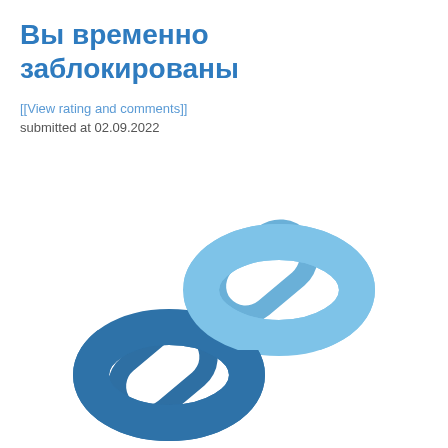Вы временно заблокированы
[[View rating and comments]]
submitted at 02.09.2022
[Figure (illustration): A chain link icon rendered in two shades of blue — a lighter blue for the top-right link and a darker steel blue for the bottom-left link. The two oval chain links interlock diagonally.]